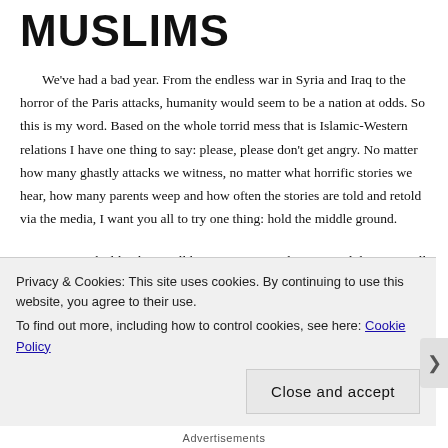MUSLIMS
We've had a bad year. From the endless war in Syria and Iraq to the horror of the Paris attacks, humanity would seem to be a nation at odds. So this is my word. Based on the whole torrid mess that is Islamic-Western relations I have one thing to say: please, please don't get angry. No matter how many ghastly attacks we witness, no matter what horrific stories we hear, how many parents weep and how often the stories are told and retold via the media, I want you all to try one thing: hold the middle ground.
Terrorist attacks like these will happen again. And again. And the West will make mistakes, or at best decisions which will lead to far more Muslim deaths than any terrorist ever caused. Again and again.
Privacy & Cookies: This site uses cookies. By continuing to use this website, you agree to their use.
To find out more, including how to control cookies, see here: Cookie Policy
Close and accept
Advertisements